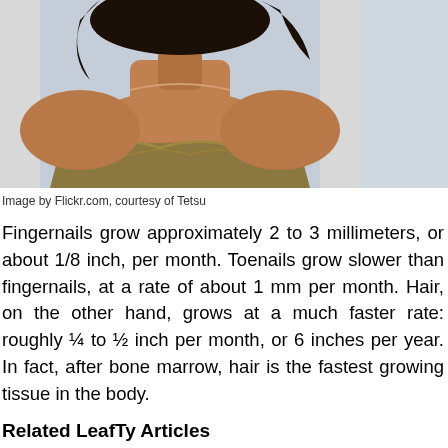[Figure (photo): A woman with dark hair wearing a tan/olive ruffled strapless top, photographed from above the shoulders against a light blue-grey background.]
Image by Flickr.com, courtesy of Tetsu
Fingernails grow approximately 2 to 3 millimeters, or about 1/8 inch, per month. Toenails grow slower than fingernails, at a rate of about 1 mm per month. Hair, on the other hand, grows at a much faster rate: roughly ¼ to ½ inch per month, or 6 inches per year. In fact, after bone marrow, hair is the fastest growing tissue in the body.
Related LeafTy Articles